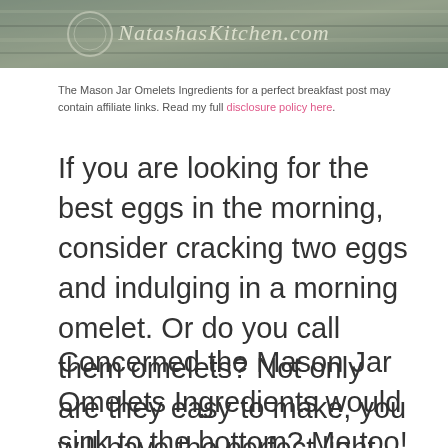[Figure (photo): Banner photo of a baking/cooking scene with NatashasKitchen.com watermark text overlay]
The Mason Jar Omelets Ingredients for a perfect breakfast post may contain affiliate links. Read my full disclosure policy here.
If you are looking for the best eggs in the morning, consider cracking two eggs and indulging in a morning omelet. Or do you call them omelets? Not only are they easy to make, you will have the perfect light and fluffy breakfast without all the hassle.
Concerned the Mason Jar Omelets Ingredients would sink to the bottom? Me too! What I realized is that you assume the ingredients will settle, but with the proper cooking, it doesn't have to happen